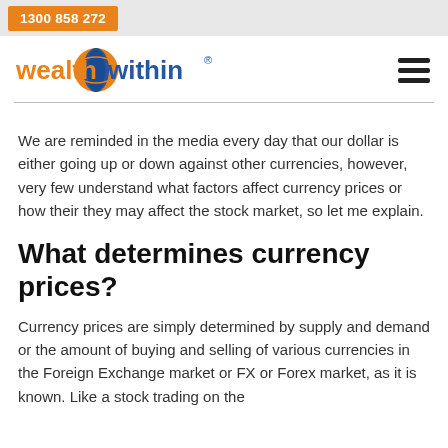1300 858 272
[Figure (logo): Wealth Within logo with orange and blue globe icon and registered trademark symbol, plus hamburger menu icon on the right]
We are reminded in the media every day that our dollar is either going up or down against other currencies, however, very few understand what factors affect currency prices or how their they may affect the stock market, so let me explain.
What determines currency prices?
Currency prices are simply determined by supply and demand or the amount of buying and selling of various currencies in the Foreign Exchange market or FX or Forex market, as it is known. Like a stock trading on the